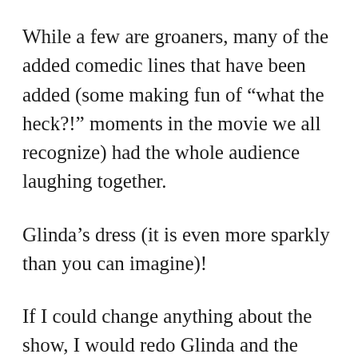While a few are groaners, many of the added comedic lines that have been added (some making fun of “what the heck?!” moments in the movie we all recognize) had the whole audience laughing together.
Glinda’s dress (it is even more sparkly than you can imagine)!
If I could change anything about the show, I would redo Glinda and the Wicked Witches wigs (except for the one scene WW’s is let down...or rather up), help bring more heart out of the actor